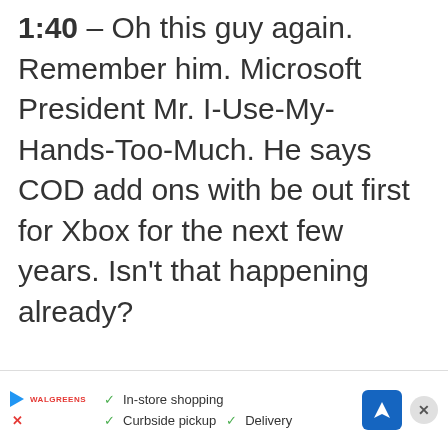1:40 – Oh this guy again. Remember him. Microsoft President Mr. I-Use-My-Hands-Too-Much. He says COD add ons with be out first for Xbox for the next few years. Isn't that happening already?
[Figure (infographic): Advertisement banner at the bottom with a play button logo, Walgreens brand name, checkmarks for In-store shopping, Curbside pickup, Delivery, a blue navigation icon, and a close button.]